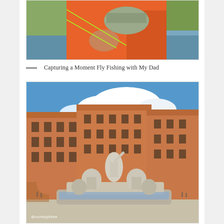[Figure (photo): Close-up of a person in an orange long-sleeve shirt holding a fly fishing rod over water, a hat visible in their hands.]
— Capturing a Moment Fly Fishing with My Dad
[Figure (photo): Piazza Navona in Rome with the Fountain of Neptune statue group in the foreground, surrounded by orange-terracotta Renaissance buildings under a blue sky with clouds. Watermark reads @countrygirlinka.]